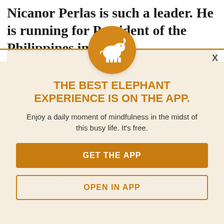Nicanor Perlas is such a leader. He is running for President of the Philippines in
2010. The Philippines is the second most corrupt country in Asia. If he was elected president, his campaign platform would have a major impact on global affairs and I would bring a voice of sanity to the table. The election is in October.
[Figure (logo): Orange circle with white elephant silhouette - Elephant app icon]
THE BEST ELEPHANT EXPERIENCE IS ON THE APP.
Enjoy a daily moment of mindfulness in the midst of this busy life. It's free.
GET THE APP
OPEN IN APP